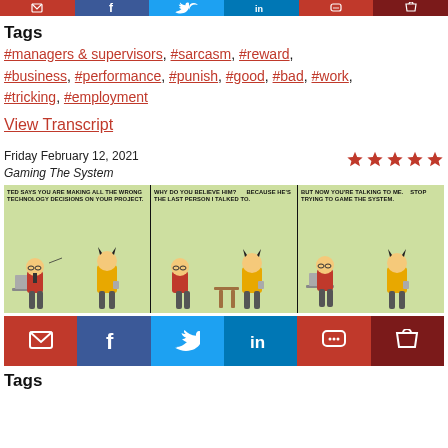[Figure (other): Row of social share buttons: email (red), facebook (dark blue), twitter (blue), linkedin (teal), comment (red), cart (dark red) at top of page]
Tags
#managers & supervisors, #sarcasm, #reward, #business, #performance, #punish, #good, #bad, #work, #tricking, #employment
View Transcript
Friday February 12, 2021
Gaming The System
[Figure (illustration): Five red star rating icons]
[Figure (illustration): Dilbert comic strip titled 'Gaming The System' (Feb 12, 2021). Three panels: Panel 1: Boss says 'TED SAYS YOU ARE MAKING ALL THE WRONG TECHNOLOGY DECISIONS ON YOUR PROJECT.' Panel 2: Dilbert asks 'WHY DO YOU BELIEVE HIM?' Boss replies 'BECAUSE HE'S THE LAST PERSON I TALKED TO.' Panel 3: Dilbert says 'BUT NOW YOU'RE TALKING TO ME.' Boss says 'STOP TRYING TO GAME THE SYSTEM.']
[Figure (other): Row of social share buttons: email (red), facebook (dark blue), twitter (blue), linkedin (teal), comment (red), cart (dark red)]
Tags